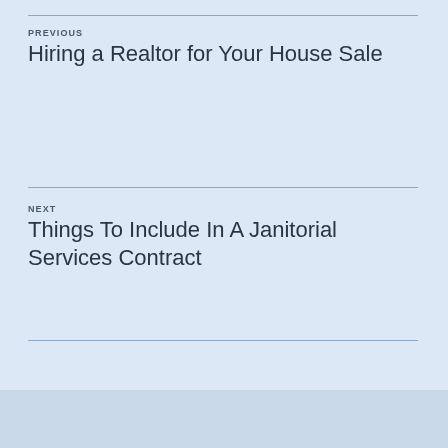PREVIOUS
Hiring a Realtor for Your House Sale
NEXT
Things To Include In A Janitorial Services Contract
Search